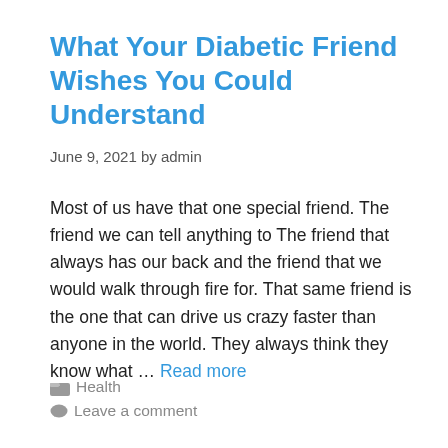What Your Diabetic Friend Wishes You Could Understand
June 9, 2021 by admin
Most of us have that one special friend. The friend we can tell anything to The friend that always has our back and the friend that we would walk through fire for. That same friend is the one that can drive us crazy faster than anyone in the world. They always think they know what … Read more
Health
Leave a comment